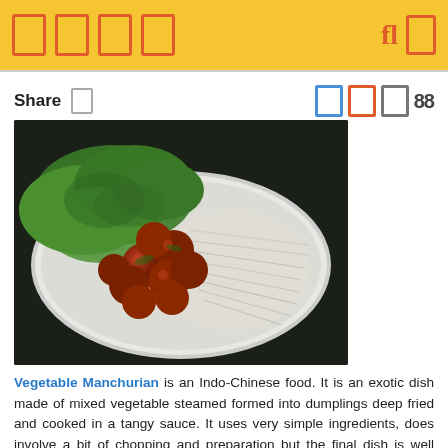[Navigation bar with icons and logo]
Share [icon] [social share icons] 88
[Figure (photo): A plate of Vegetable Manchurian — spicy fried vegetable dumplings served with noodles and leafy greens on a white plate.]
Vegetable Manchurian is an Indo-Chinese food. It is an exotic dish made of mixed vegetable steamed formed into dumplings deep fried and cooked in a tangy sauce. It uses very simple ingredients, does involve a bit of chopping and preparation but the final dish is well worth the effort! This vegetarian Manchurian is one of the best examples of fusion food. There are two versions of Vegetable Manchurian, a dry Manchurian...